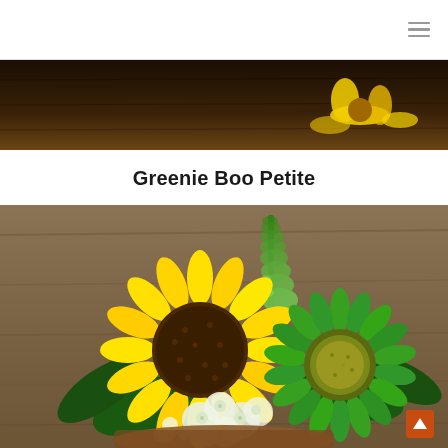Navigation menu (hamburger icon)
[Figure (photo): Partial view of a dark floral arrangement photo at the top of the page, showing yellow flowers against a dark background]
Greenie Boo Petite
[Figure (photo): A floral arrangement featuring a large yellow sunflower on the left, green sunflowers on the right, green bell-shaped flowers at the top, and white hydrangeas at the bottom, set against a rustic wooden background]